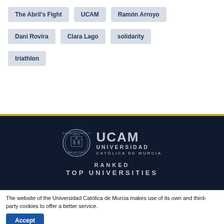The Abril's Fight
UCAM
Ramón Arroyo
Dani Rovira
Clara Lago
solidarity
triathlon
[Figure (logo): UCAM Universidad Católica de Murcia logo with circular seal and text. Below: RANKED TOP UNIVERSITIES]
The website of the Universidad Católica de Murcia makes use of its own and third-party cookies to offer a better service.
Accept